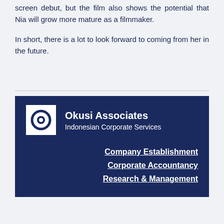screen debut, but the film also shows the potential that Nia will grow more mature as a filmmaker.
In short, there is a lot to look forward to coming from her in the future.
[Figure (logo): Okusi Associates footer banner with logo, company name 'Okusi Associates', tagline 'Indonesian Corporate Services', and three service links: Company Establishment, Corporate Accountancy, Research & Management]